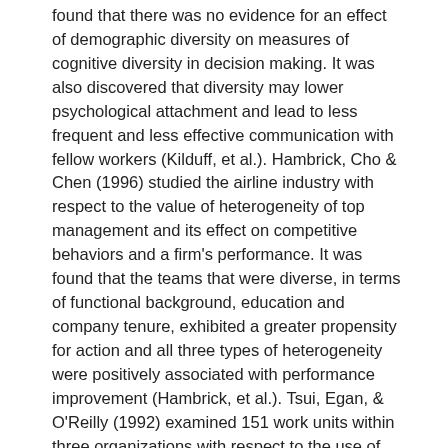found that there was no evidence for an effect of demographic diversity on measures of cognitive diversity in decision making. It was also discovered that diversity may lower psychological attachment and lead to less frequent and less effective communication with fellow workers (Kilduff, et al.). Hambrick, Cho & Chen (1996) studied the airline industry with respect to the value of heterogeneity of top management and its effect on competitive behaviors and a firm's performance. It was found that the teams that were diverse, in terms of functional background, education and company tenure, exhibited a greater propensity for action and all three types of heterogeneity were positively associated with performance improvement (Hambrick, et al.). Tsui, Egan, & O'Reilly (1992) examined 151 work units within three organizations with respect to the use of self-categorization theory and organizational attachment. It was concluded that individual interactions among group members are important among those who are demographically different and that the negative effects of heterogeneous groups should be reduced (Tsui, et al.). Staples & Zhao (2006) examined the effect of cultural